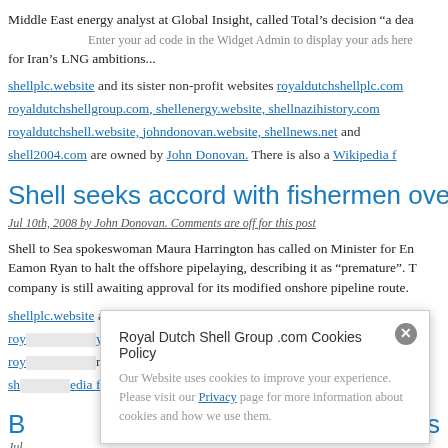Middle East energy analyst at Global Insight, called Total’s decision “a dea for Iran’s LNG ambitions...
Enter your ad code in the Widget Admin to display your ads here
shellplc.website and its sister non-profit websites royaldutchshellplc.com royaldutchshellgroup.com, shellenergy.website, shellnazihistory.com royaldutchshell.website, johndonovan.website, shellnews.net and shell2004.com are owned by John Donovan. There is also a Wikipedia f
Shell seeks accord with fishermen over Corrib
Jul 10th, 2008 by John Donovan. Comments are off for this post
Shell to Sea spokeswoman Maura Harrington has called on Minister for En Eamon Ryan to halt the offshore pipelaying, describing it as “premature”. T company is still awaiting approval for its modified onshore pipeline route.
shellplc.website and its sister non-profit websites royaldutchshellplc.com
Royal Dutch Shell Group .com Cookies Policy
Our Website uses cookies to improve your experience. Please visit our Privacy page for more information about cookies and how we use them.
B ... ers
Jul